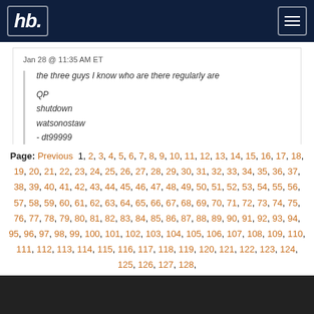hb [logo] [menu button]
Jan 28 @ 11:35 AM ET
the three guys I know who are there regularly are

QP
shutdown
watsonostaw
- dt99999
bath house?
Page: Previous 1, 2, 3, 4, 5, 6, 7, 8, 9, 10, 11, 12, 13, 14, 15, 16, 17, 18, 19, 20, 21, 22, 23, 24, 25, 26, 27, 28, 29, 30, 31, 32, 33, 34, 35, 36, 37, 38, 39, 40, 41, 42, 43, 44, 45, 46, 47, 48, 49, 50, 51, 52, 53, 54, 55, 56, 57, 58, 59, 60, 61, 62, 63, 64, 65, 66, 67, 68, 69, 70, 71, 72, 73, 74, 75, 76, 77, 78, 79, 80, 81, 82, 83, 84, 85, 86, 87, 88, 89, 90, 91, 92, 93, 94, 95, 96, 97, 98, 99, 100, 101, 102, 103, 104, 105, 106, 107, 108, 109, 110, 111, 112, 113, 114, 115, 116, 117, 118, 119, 120, 121, 122, 123, 124, 125, 126, 127, 128,